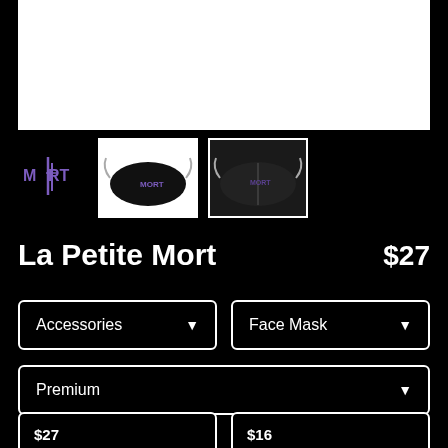[Figure (photo): White product image area at top (face mask product photo area, white background)]
[Figure (logo): MORT band/brand logo in purple]
[Figure (photo): Thumbnail of face mask product - front view, black mask]
[Figure (photo): Thumbnail of face mask product - back view, black mask]
La Petite Mort
$27
Accessories
Face Mask
Premium
$27
Standard (7.5" x 4.5")
$16
Pack of 10 Filters